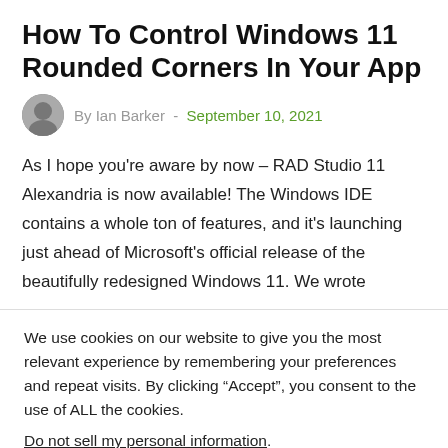How To Control Windows 11 Rounded Corners In Your App
By Ian Barker - September 10, 2021
As I hope you're aware by now – RAD Studio 11 Alexandria is now available! The Windows IDE contains a whole ton of features, and it's launching just ahead of Microsoft's official release of the beautifully redesigned Windows 11. We wrote
We use cookies on our website to give you the most relevant experience by remembering your preferences and repeat visits. By clicking “Accept”, you consent to the use of ALL the cookies.
Do not sell my personal information.